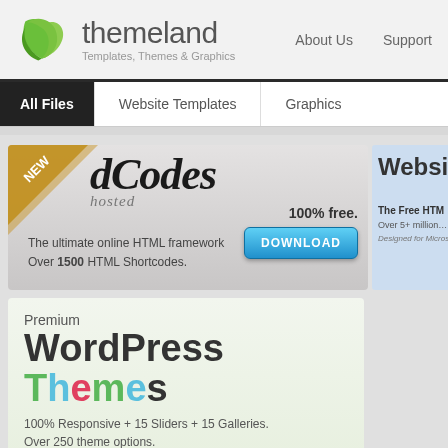[Figure (logo): Themeland green leaf logo with brand name 'themeland' and tagline 'Templates, Themes & Graphics']
About Us    Support
All Files    Website Templates    Graphics
[Figure (screenshot): dCodes hosted banner — NEW ribbon, dCodes hosted logo, '100% free.', DOWNLOAD button, 'The ultimate online HTML framework', 'Over 1500 HTML Shortcodes.']
[Figure (screenshot): Partial right banner — Website... The Free HTM... Over 5+ million... Designed for Micros...]
[Figure (screenshot): Premium WordPress Themes banner — '100% Responsive + 15 Sliders + 15 Galleries. Over 250 theme options.' 'Coming soon.']